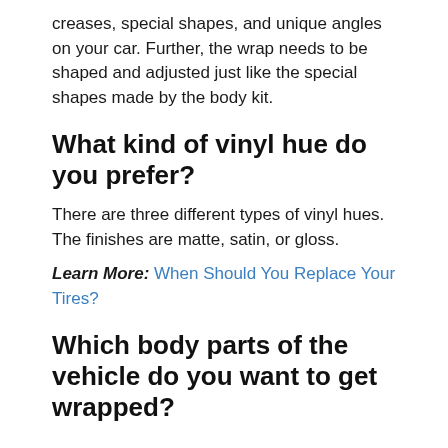creases, special shapes, and unique angles on your car. Further, the wrap needs to be shaped and adjusted just like the special shapes made by the body kit.
What kind of vinyl hue do you prefer?
There are three different types of vinyl hues. The finishes are matte, satin, or gloss.
Learn More: When Should You Replace Your Tires?
Which body parts of the vehicle do you want to get wrapped?